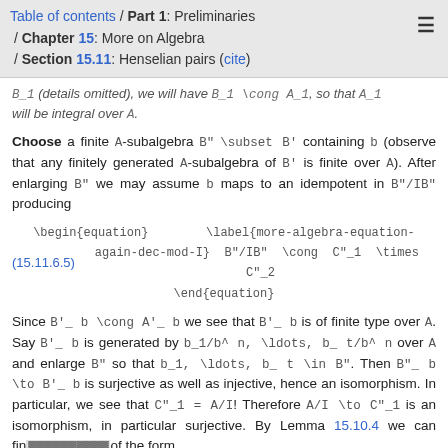Table of contents / Part 1: Preliminaries / Chapter 15: More on Algebra / Section 15.11: Henselian pairs (cite)
B_1 (details omitted), we will have B_1 \cong A_1, so that A_1 will be integral over A.
Choose a finite A-subalgebra B" \subset B' containing b (observe that any finitely generated A-subalgebra of B' is finite over A). After enlarging B" we may assume b maps to an idempotent in B"/IB" producing
Since B'_ b \cong A'_ b we see that B'_ b is of finite type over A. Say B'_ b is generated by b_1/b^ n, \ldots, b_ t/b^ n over A and enlarge B" so that b_1, \ldots, b_ t \in B". Then B"_ b \to B'_ b is surjective as well as injective, hence an isomorphism. In particular, we see that C"_1 = A/I! Therefore A/I \to C"_1 is an isomorphism, in particular surjective. By Lemma 15.10.4 we can find ... of the form
Typesetting math: 41%